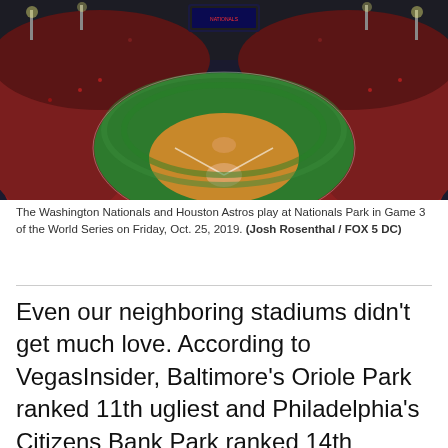[Figure (photo): Aerial night view of Nationals Park filled with fans during Game 3 of the 2019 World Series between the Washington Nationals and Houston Astros. The baseball diamond and green field are visible from above, surrounded by packed red-wearing crowds.]
The Washington Nationals and Houston Astros play at Nationals Park in Game 3 of the World Series on Friday, Oct. 25, 2019. (Josh Rosenthal / FOX 5 DC)
Even our neighboring stadiums didn't get much love. According to VegasInsider, Baltimore's Oriole Park ranked 11th ugliest and Philadelphia's Citizens Bank Park ranked 14th ugliest.